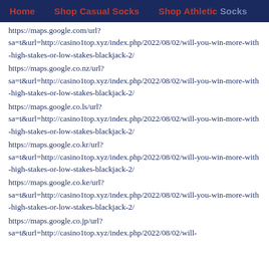Home    Shop Casual Socks    Shop Athletic Socks
https://maps.google.com/url?sa=t&url=http://casino1top.xyz/index.php/2022/08/02/will-you-win-more-with-high-stakes-or-low-stakes-blackjack-2/
https://maps.google.co.nz/url?sa=t&url=http://casino1top.xyz/index.php/2022/08/02/will-you-win-more-with-high-stakes-or-low-stakes-blackjack-2/
https://maps.google.co.ls/url?sa=t&url=http://casino1top.xyz/index.php/2022/08/02/will-you-win-more-with-high-stakes-or-low-stakes-blackjack-2/
https://maps.google.co.kr/url?sa=t&url=http://casino1top.xyz/index.php/2022/08/02/will-you-win-more-with-high-stakes-or-low-stakes-blackjack-2/
https://maps.google.co.ke/url?sa=t&url=http://casino1top.xyz/index.php/2022/08/02/will-you-win-more-with-high-stakes-or-low-stakes-blackjack-2/
https://maps.google.co.jp/url?sa=t&url=http://casino1top.xyz/index.php/2022/08/02/will-